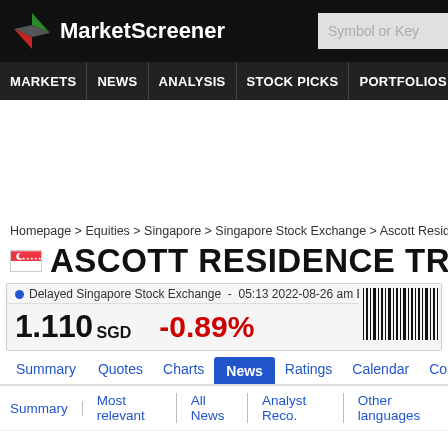[Figure (logo): MarketScreener logo with red and green arrow icon on black header bar]
MARKETS  NEWS  ANALYSIS  STOCK PICKS  PORTFOLIOS  WATCHLI...
Homepage > Equities > Singapore > Singapore Stock Exchange > Ascott Residence...
ASCOTT RESIDENCE TRUS...
Delayed Singapore Stock Exchange - 05:13 2022-08-26 am EDT   1.110 SGD   -0.89%
Summary  Quotes  Charts  News  Ratings  Calendar  Company...
Summary | Most relevant | All News | Analyst Reco. | Other languages...